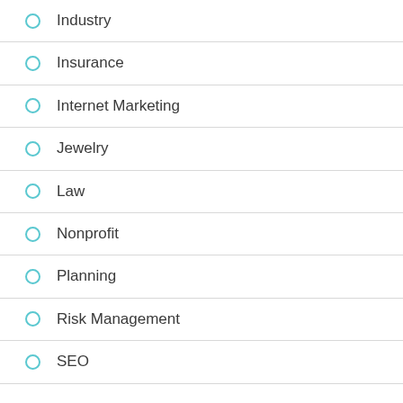Industry
Insurance
Internet Marketing
Jewelry
Law
Nonprofit
Planning
Risk Management
SEO